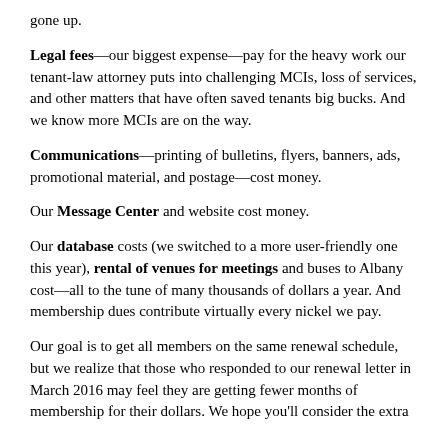gone up.
Legal fees—our biggest expense—pay for the heavy work our tenant-law attorney puts into challenging MCIs, loss of services, and other matters that have often saved tenants big bucks. And we know more MCIs are on the way.
Communications—printing of bulletins, flyers, banners, ads, promotional material, and postage—cost money.
Our Message Center and website cost money.
Our database costs (we switched to a more user-friendly one this year), rental of venues for meetings and buses to Albany cost—all to the tune of many thousands of dollars a year. And membership dues contribute virtually every nickel we pay.
Our goal is to get all members on the same renewal schedule, but we realize that those who responded to our renewal letter in March 2016 may feel they are getting fewer months of membership for their dollars. We hope you'll consider the extra